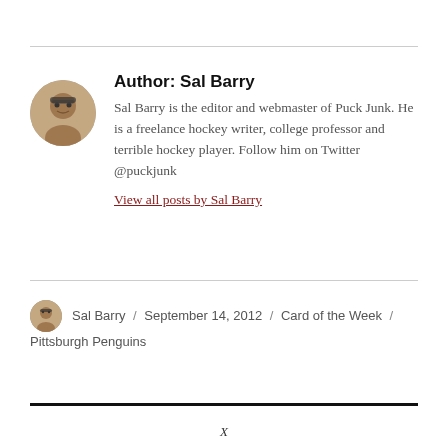Author: Sal Barry
Sal Barry is the editor and webmaster of Puck Junk. He is a freelance hockey writer, college professor and terrible hockey player. Follow him on Twitter @puckjunk
View all posts by Sal Barry
Sal Barry / September 14, 2012 / Card of the Week /
Pittsburgh Penguins
X